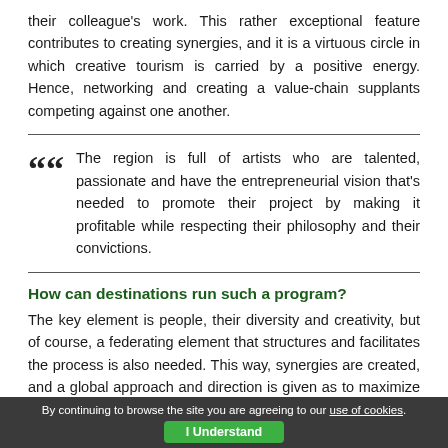their colleague's work. This rather exceptional feature contributes to creating synergies, and it is a virtuous circle in which creative tourism is carried by a positive energy. Hence, networking and creating a value-chain supplants competing against one another.
““ The region is full of artists who are talented, passionate and have the entrepreneurial vision that's needed to promote their project by making it profitable while respecting their philosophy and their convictions.
How can destinations run such a program?
The key element is people, their diversity and creativity, but of course, a federating element that structures and facilitates the process is also needed. This way, synergies are created, and a global approach and direction is given as to maximize a destination’s potential. In our present case, Tourism des Îles de la Madeleine, the Destination Management Organization (DMO) and the Island’s Tourism Cluster in insular context,
By continuing to browse the site you are agreeing to our use of cookies. I Understand